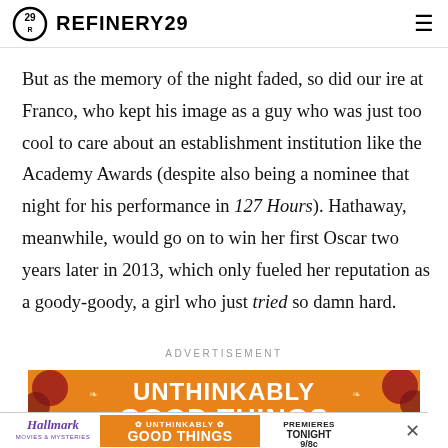REFINERY29
But as the memory of the night faded, so did our ire at Franco, who kept his image as a guy who was just too cool to care about an establishment institution like the Academy Awards (despite also being a nominee that night for his performance in 127 Hours). Hathaway, meanwhile, would go on to win her first Oscar two years later in 2013, which only fueled her reputation as a goody-goody, a girl who just tried so damn hard.
ADVERTISEMENT
[Figure (photo): Orange advertisement banner for Hallmark Movies & Mysteries showing 'UNTHINKABLY GOOD THINGS' with text 'PREMIERES TONIGHT 9/8c']